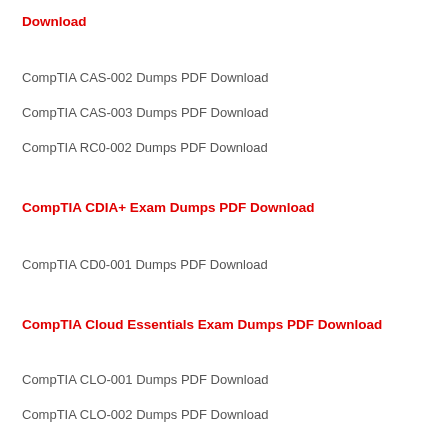Download
CompTIA CAS-002 Dumps PDF Download
CompTIA CAS-003 Dumps PDF Download
CompTIA RC0-002 Dumps PDF Download
CompTIA CDIA+ Exam Dumps PDF Download
CompTIA CD0-001 Dumps PDF Download
CompTIA Cloud Essentials Exam Dumps PDF Download
CompTIA CLO-001 Dumps PDF Download
CompTIA CLO-002 Dumps PDF Download